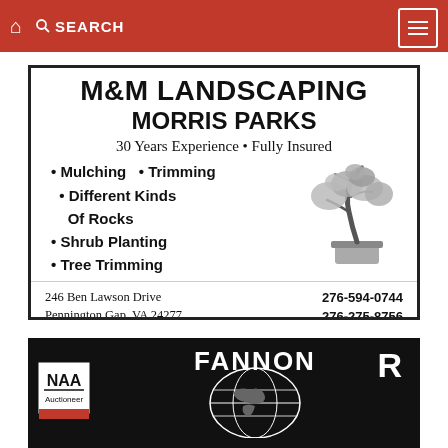SEARCH
[Figure (illustration): M&M Landscaping advertisement for Morris Parks. 30 Years Experience, Fully Insured. Services: Mulching, Trimming, Different Kinds Of Rocks, Shrub Planting, Tree Trimming. Address: 246 Ben Lawson Drive, Pennington Gap, VA 24277. Phone: 276-594-0744, 276-275-8756. Includes bonsai tree illustration.]
[Figure (logo): Fannon logo on black background with NAA auctioneer badge and globe graphic.]